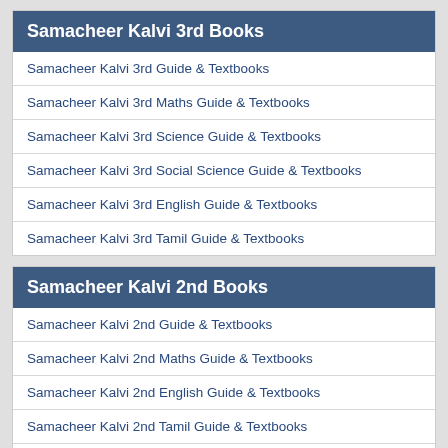Samacheer Kalvi 3rd Books
Samacheer Kalvi 3rd Guide & Textbooks
Samacheer Kalvi 3rd Maths Guide & Textbooks
Samacheer Kalvi 3rd Science Guide & Textbooks
Samacheer Kalvi 3rd Social Science Guide & Textbooks
Samacheer Kalvi 3rd English Guide & Textbooks
Samacheer Kalvi 3rd Tamil Guide & Textbooks
Samacheer Kalvi 2nd Books
Samacheer Kalvi 2nd Guide & Textbooks
Samacheer Kalvi 2nd Maths Guide & Textbooks
Samacheer Kalvi 2nd English Guide & Textbooks
Samacheer Kalvi 2nd Tamil Guide & Textbooks
Samacheer Kalvi 2nd Environmental Science Guide & Textbooks